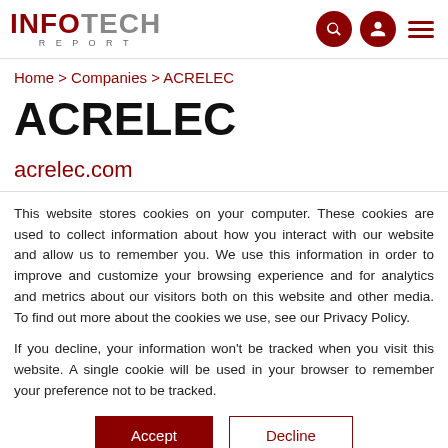INFOTECH REPORT
Home > Companies > ACRELEC
ACRELEC
acrelec.com
This website stores cookies on your computer. These cookies are used to collect information about how you interact with our website and allow us to remember you. We use this information in order to improve and customize your browsing experience and for analytics and metrics about our visitors both on this website and other media. To find out more about the cookies we use, see our Privacy Policy.
If you decline, your information won't be tracked when you visit this website. A single cookie will be used in your browser to remember your preference not to be tracked.
Accept  Decline